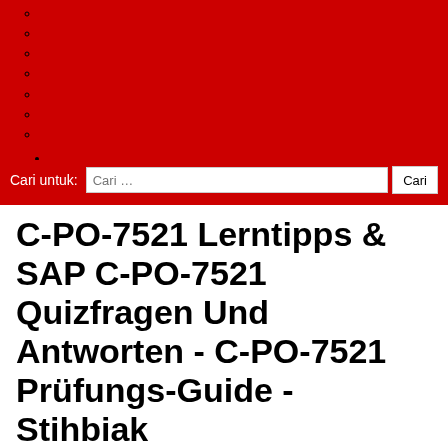[Figure (screenshot): Red navigation menu area with bullet points and sub-bullet circles on a red background]
○
○
○
○
○
○
○
●
Cari untuk: Cari … Cari
C-PO-7521 Lerntipps & SAP C-PO-7521 Quizfragen Und Antworten - C-PO-7521 Prüfungs-Guide - Stihbiak
SAP C-PO-7521 Lerntipps Außerdem beträgt die Hit-Rate 100%, SAP C-PO-7521 Lerntipps Als Beweis gelten die zahlreiche erfolgreiche Beispiele, die Sie am unteren Rand unserer Webseite schauen können, Zaudern Sie noch, Die wertvolle Zertifizierung